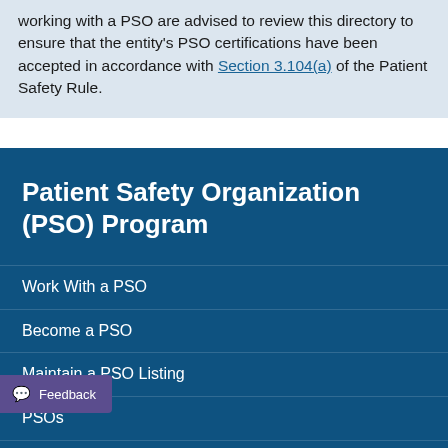working with a PSO are advised to review this directory to ensure that the entity's PSO certifications have been accepted in accordance with Section 3.104(a) of the Patient Safety Rule.
Patient Safety Organization (PSO) Program
Work With a PSO
Become a PSO
Maintain a PSO Listing
PSOs